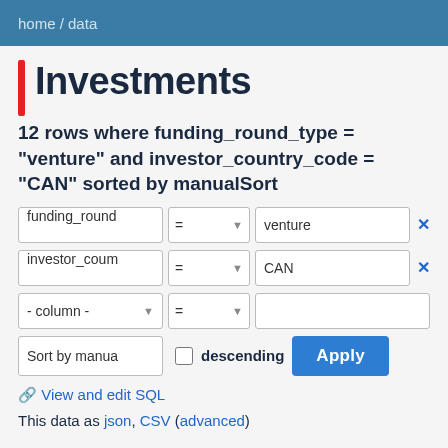home / data
Investments
12 rows where funding_round_type = "venture" and investor_country_code = "CAN" sorted by manualSort
funding_round = venture
investor_count = CAN
- column - =
Sort by manua  descending  Apply
View and edit SQL
This data as json, CSV (advanced)